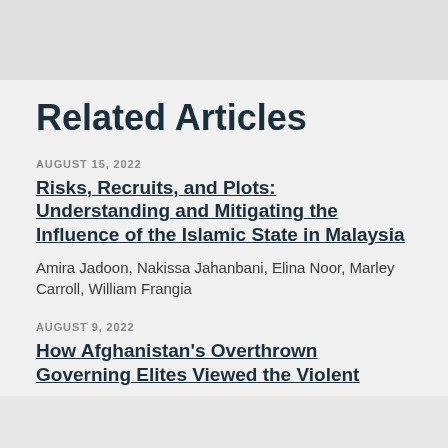Related Articles
AUGUST 15, 2022
Risks, Recruits, and Plots: Understanding and Mitigating the Influence of the Islamic State in Malaysia
Amira Jadoon, Nakissa Jahanbani, Elina Noor, Marley Carroll, William Frangia
AUGUST 9, 2022
How Afghanistan's Overthrown Governing Elites Viewed the Violent